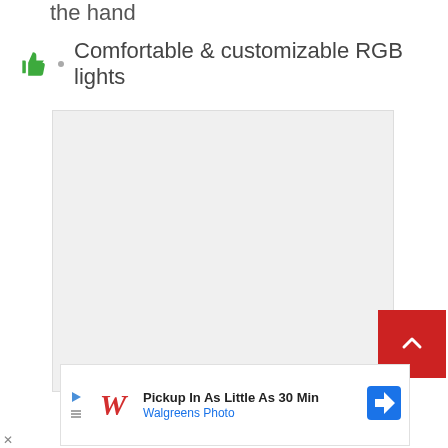the hand
Comfortable & customizable RGB lights
[Figure (other): Large blank/empty image placeholder area with light gray background]
[Figure (other): Red scroll-to-top button with white upward chevron arrow]
[Figure (other): Advertisement banner: Walgreens Photo - Pickup In As Little As 30 Min]